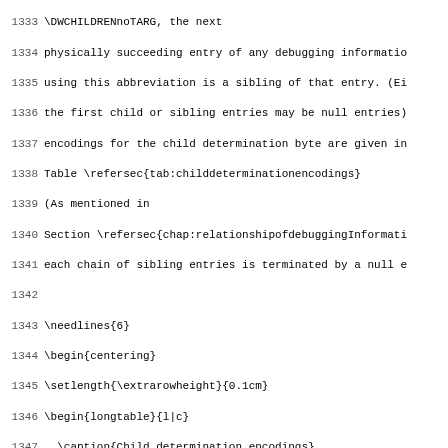Source code listing with line numbers 1333-1365, showing LaTeX/TeX source code related to DWARF debugging information child determination encodings.